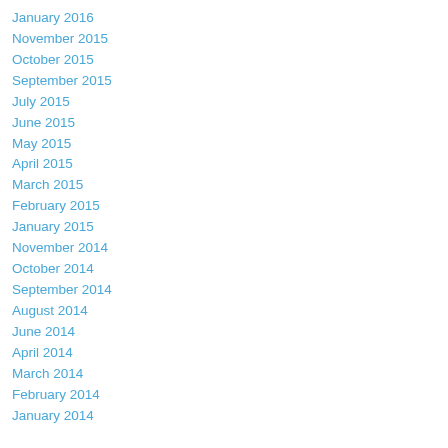January 2016
November 2015
October 2015
September 2015
July 2015
June 2015
May 2015
April 2015
March 2015
February 2015
January 2015
November 2014
October 2014
September 2014
August 2014
June 2014
April 2014
March 2014
February 2014
January 2014